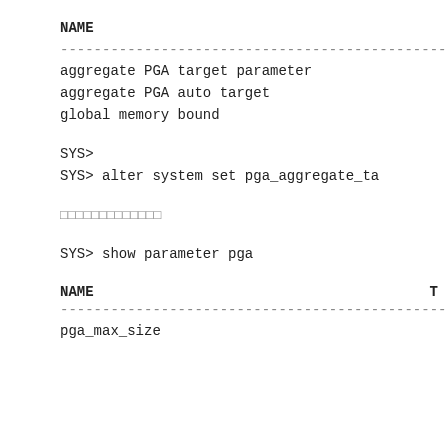NAME
------------------------------------------------
aggregate PGA target parameter
aggregate PGA auto target
global memory bound
SYS>
SYS> alter system set pga_aggregate_ta
□□□□□□□□□□□□□
SYS> show parameter pga
NAME                                      T
------------------------------------------------
pga_max_size